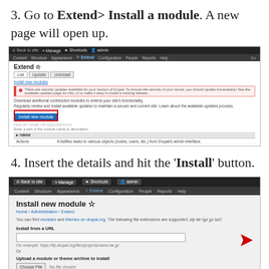3. Go to Extend> Install a module. A new page will open up.
[Figure (screenshot): Screenshot of Drupal admin panel showing the Extend page with 'Install new module' button highlighted in a red border, along with navigation bar, error message, and module list including Actions and Activity Tracker.]
4. Insert the details and hit the 'Install' button.
[Figure (screenshot): Screenshot of Drupal 'Install new module' page showing Install from a URL field with a red arrow pointing to it, and Upload a module or theme archive to install section with Choose File button and a red arrow pointing to it.]